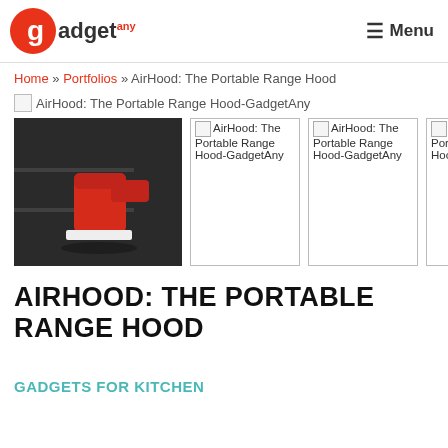gadgetany — Menu
Home » Portfolios » AirHood: The Portable Range Hood
[Figure (photo): AirHood: The Portable Range Hood-GadgetAny — main gallery image placeholder and three broken image thumbnails with alt text 'AirHood: The Portable Range Hood-GadgetAny']
AIRHOOD: THE PORTABLE RANGE HOOD
GADGETS FOR KITCHEN